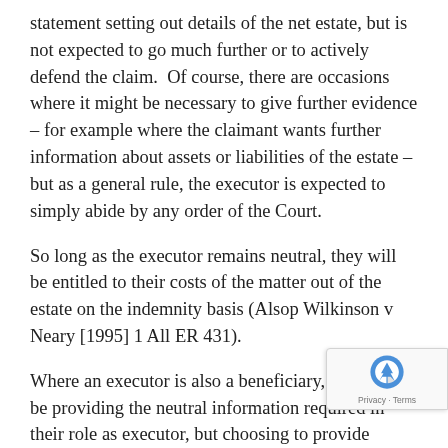statement setting out details of the net estate, but is not expected to go much further or to actively defend the claim.  Of course, there are occasions where it might be necessary to give further evidence – for example where the claimant wants further information about assets or liabilities of the estate – but as a general rule, the executor is expected to simply abide by any order of the Court.
So long as the executor remains neutral, they will be entitled to their costs of the matter out of the estate on the indemnity basis (Alsop Wilkinson v Neary [1995] 1 All ER 431).
Where an executor is also a beneficiary, they may be providing the neutral information required in their role as executor, but choosing to provide further evidence and a defence in their role as beneficiary.  A beneficiary may well want to defend a claim under the Inheritance Act, either by questioning the evidence put forward by the...